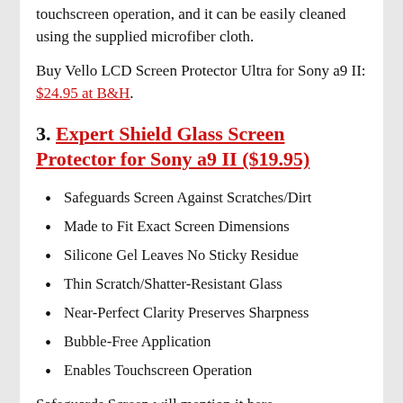touchscreen operation, and it can be easily cleaned using the supplied microfiber cloth.
Buy Vello LCD Screen Protector Ultra for Sony a9 II: $24.95 at B&H.
3. Expert Shield Glass Screen Protector for Sony a9 II ($19.95)
Safeguards Screen Against Scratches/Dirt
Made to Fit Exact Screen Dimensions
Silicone Gel Leaves No Sticky Residue
Thin Scratch/Shatter-Resistant Glass
Near-Perfect Clarity Preserves Sharpness
Bubble-Free Application
Enables Touchscreen Operation
Safeguards Screen will mention it here